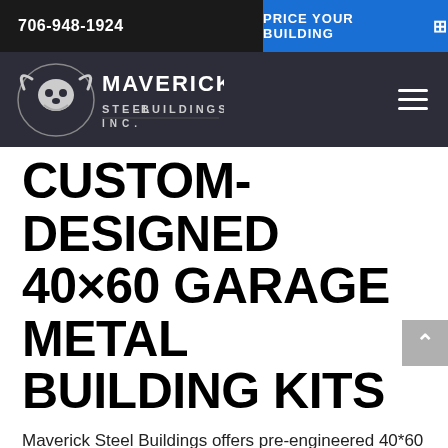706-948-1924
PRICE YOUR BUILDING
[Figure (logo): Maverick Steel Buildings Inc. logo with longhorn skull, white text on dark background]
CUSTOM-DESIGNED 40×60 GARAGE METAL BUILDING KITS
Maverick Steel Buildings offers pre-engineered 40*60 steel building garages that are both tough and dependable. With a covered area of